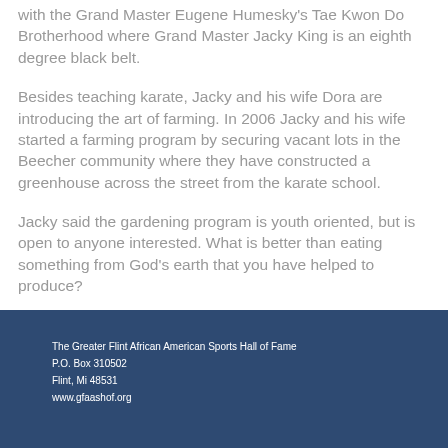with the Grand Master Eugene Humesky's Tae Kwon Do Brotherhood where Grand Master Jacky King is an eighth degree black belt.
Besides teaching karate, Jacky and his wife Dora are introducing the art of farming. In 2006 Jacky and his wife started a farming program by securing vacant lots in the Beecher community where they have constructed a greenhouse across the street from the karate school.
Jacky said the gardening program is youth oriented, but is open to anyone interested. What is better than eating something from God's earth that you have helped to produce?
The Greater Flint African American Sports Hall of Fame
P.O. Box 310502
Flint, Mi 48531
www.gfaashof.org